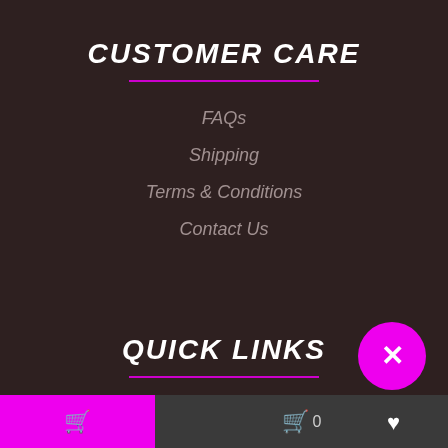CUSTOMER CARE
FAQs
Shipping
Terms & Conditions
Contact Us
QUICK LINKS
Types
Bulk
By Color
Flowers...